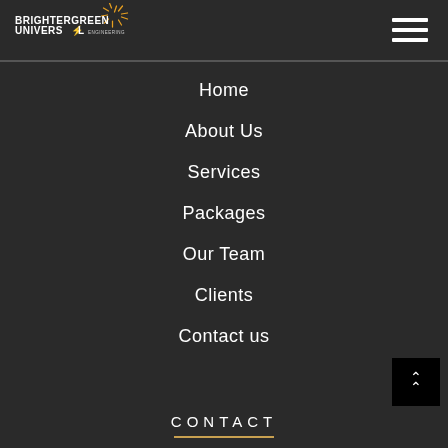[Figure (logo): BrighterGreen Universal Engineering logo with orange sun/spark graphic]
Home
About Us
Services
Packages
Our Team
Clients
Contact us
CONTACT